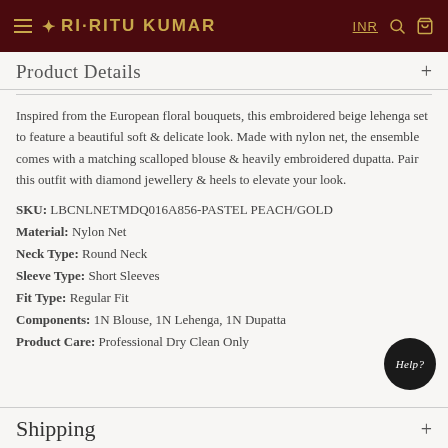RI·RITU KUMAR — INR
Product Details
Inspired from the European floral bouquets, this embroidered beige lehenga set to feature a beautiful soft & delicate look. Made with nylon net, the ensemble comes with a matching scalloped blouse & heavily embroidered dupatta. Pair this outfit with diamond jewellery & heels to elevate your look.
SKU: LBCNLNETMDQ016A856-PASTEL PEACH/GOLD
Material: Nylon Net
Neck Type: Round Neck
Sleeve Type: Short Sleeves
Fit Type: Regular Fit
Components: 1N Blouse, 1N Lehenga, 1N Dupatta
Product Care: Professional Dry Clean Only
Shipping